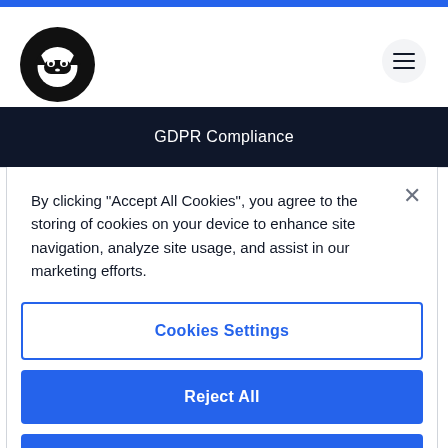[Figure (logo): Round black circle logo with a stylized cat/ninja face icon in white]
GDPR Compliance
By clicking "Accept All Cookies", you agree to the storing of cookies on your device to enhance site navigation, analyze site usage, and assist in our marketing efforts.
Cookies Settings
Reject All
Accept All Cookies